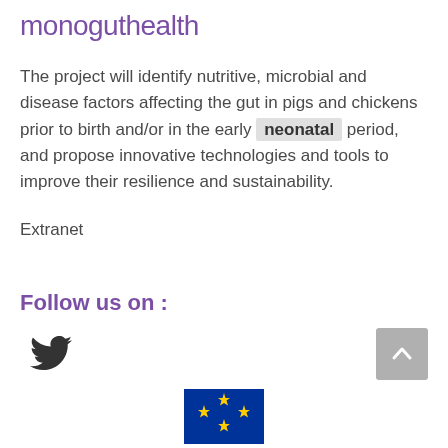monoguthealth
The project will identify nutritive, microbial and disease factors affecting the gut in pigs and chickens prior to birth and/or in the early neonatal period, and propose innovative technologies and tools to improve their resilience and sustainability.
Extranet
Follow us on :
[Figure (illustration): Twitter bird icon]
[Figure (illustration): Scroll-to-top button with upward chevron arrow]
[Figure (logo): European Union flag with yellow stars on blue background, partially visible at bottom]